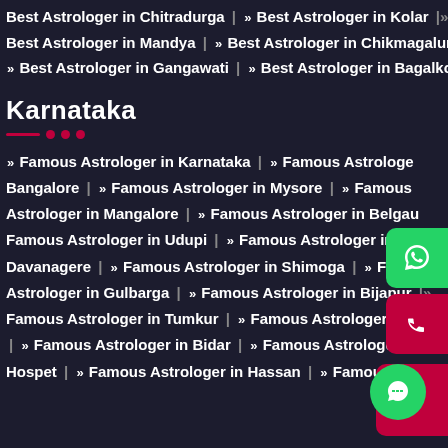Best Astrologer in Chitradurga | » Best Astrologer in Kolar |» Best Astrologer in Mandya | » Best Astrologer in Chikmagalur | » Best Astrologer in Gangawati | » Best Astrologer in Bagalkot
Karnataka
» Famous Astrologer in Karnataka | » Famous Astrologer in Bangalore | » Famous Astrologer in Mysore | » Famous Astrologer in Mangalore | » Famous Astrologer in Belgaum | Famous Astrologer in Udupi | » Famous Astrologer in Davanagere | » Famous Astrologer in Shimoga | » Famous Astrologer in Gulbarga | Famous Astrologer in Bijapur |» Famous Astrologer in Tumkur | » Famous Astrologer in Raichur | » Famous Astrologer in Bidar | » Famous Astrologer in Hospet | » Famous Astrologer in Hassan | » Famous